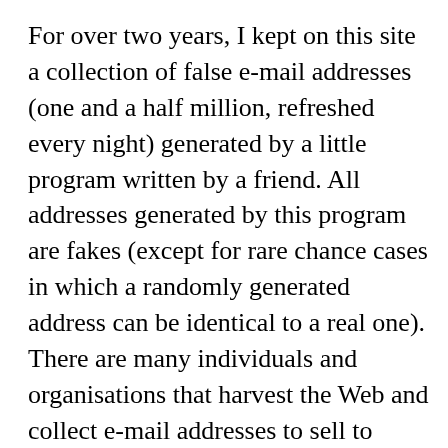For over two years, I kept on this site a collection of false e-mail addresses (one and a half million, refreshed every night) generated by a little program written by a friend. All addresses generated by this program are fakes (except for rare chance cases in which a randomly generated address can be identical to a real one). There are many individuals and organisations that harvest the Web and collect e-mail addresses to sell to spammers, or to use for spamming. In the past, adding my fake addresses (in total over one billion) to their lists polluted them and made them much less valuable. My web site was harvested on a daily basis by several uninvited web spiders that scanned